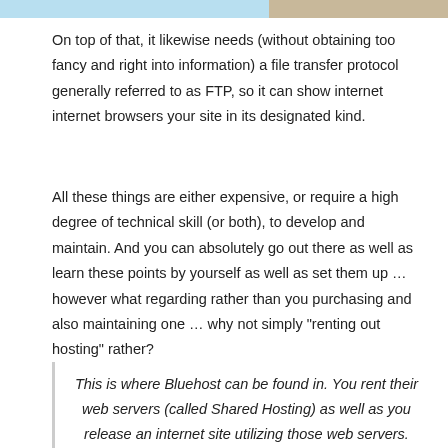[Figure (photo): Partial image strip visible at top of page, showing light blue and tan/beige sections]
On top of that, it likewise needs (without obtaining too fancy and right into information) a file transfer protocol generally referred to as FTP, so it can show internet internet browsers your site in its designated kind.
All these things are either expensive, or require a high degree of technical skill (or both), to develop and maintain. And you can absolutely go out there as well as learn these points by yourself as well as set them up … however what regarding rather than you purchasing and also maintaining one … why not simply “renting out hosting” rather?
This is where Bluehost can be found in. You rent their web servers (called Shared Hosting) as well as you release an internet site utilizing those web servers.